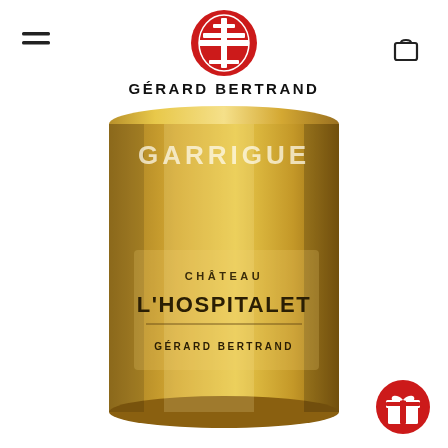[Figure (logo): Gérard Bertrand red circular logo with cross emblem]
GÉRARD BERTRAND
[Figure (photo): Gold bottle of Château L'Hospitalet Garrigue wine by Gérard Bertrand, with a gold label showing 'GARRIGUE' at top, 'CHÂTEAU L'HOSPITALET' in large text, and 'GÉRARD BERTRAND' below, set against white background. Red gift badge in bottom right corner.]